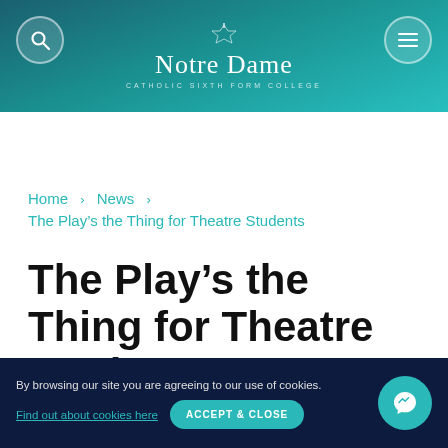Notre Dame Catholic Sixth Form College
Home > News > The Play's the Thing for Theatre Students
The Play's the Thing for Theatre Students
By browsing our site you are agreeing to our use of cookies. Find out about cookies here ACCEPT & CLOSE